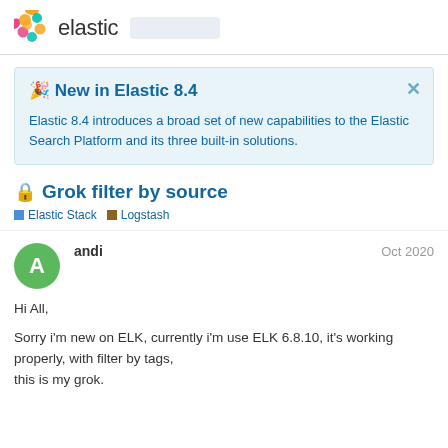elastic
🎉 New in Elastic 8.4
Elastic 8.4 introduces a broad set of new capabilities to the Elastic Search Platform and its three built-in solutions.
🔒 Grok filter by source
Elastic Stack  Logstash
andi  Oct 2020
Hi All,

Sorry i'm new on ELK, currently i'm use ELK 6.8.10, it's working properly, with filter by tags,
this is my grok.